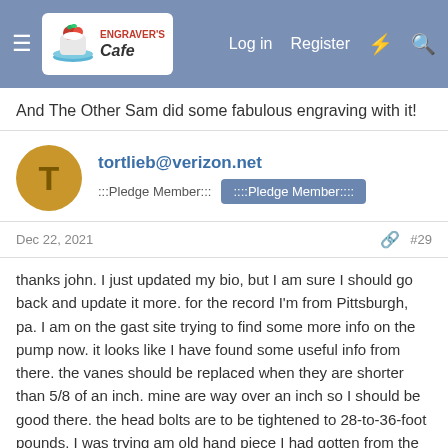Engraver's Cafe — Log in  Register
And The Other Sam did some fabulous engraving with it!
tortlieb@verizon.net
:::Pledge Member:::  ::::Pledge Member::::
Dec 22, 2021  #29
thanks john. I just updated my bio, but I am sure I should go back and update it more. for the record I'm from Pittsburgh, pa. I am on the gast site trying to find some more info on the pump now. it looks like I have found some useful info from there. the vanes should be replaced when they are shorter than 5/8 of an inch. mine are way over an inch so I should be good there. the head bolts are to be tightened to 28-to-36-foot pounds. I was trying am old hand piece I had gotten from the old gravermax how these are the old hand pieces that still have the drill bit type holder for the gravers. they work but they are nothing like